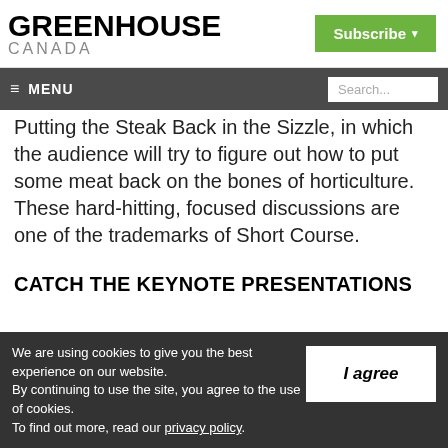GREENHOUSE CANADA
Putting the Steak Back in the Sizzle, in which the audience will try to figure out how to put some meat back on the bones of horticulture. These hard-hitting, focused discussions are one of the trademarks of Short Course.
CATCH THE KEYNOTE PRESENTATIONS
We are using cookies to give you the best experience on our website. By continuing to use the site, you agree to the use of cookies. To find out more, read our privacy policy.